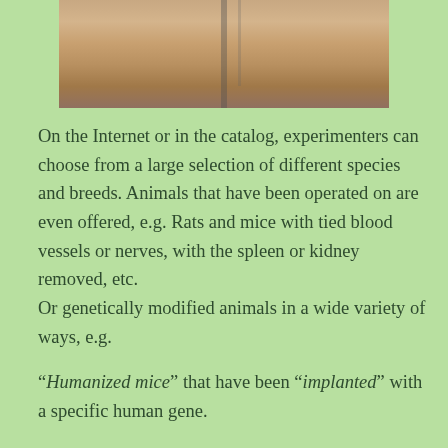[Figure (photo): Close-up photograph of an animal (likely a rodent/small mammal), showing fur in brownish/tan tones with what appears to be a cage bar visible]
On the Internet or in the catalog, experimenters can choose from a large selection of different species and breeds. Animals that have been operated on are even offered, e.g. Rats and mice with tied blood vessels or nerves, with the spleen or kidney removed, etc.
Or genetically modified animals in a wide variety of ways, e.g.
“Humanized mice” that have been “implanted” with a specific human gene.